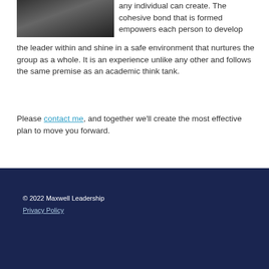[Figure (photo): Partial photo of a person, cropped, showing upper body area against dark background]
any individual can create. The cohesive bond that is formed empowers each person to develop the leader within and shine in a safe environment that nurtures the group as a whole. It is an experience unlike any other and follows the same premise as an academic think tank.
Please contact me, and together we'll create the most effective plan to move you forward.
© 2022 Maxwell Leadership
Privacy Policy